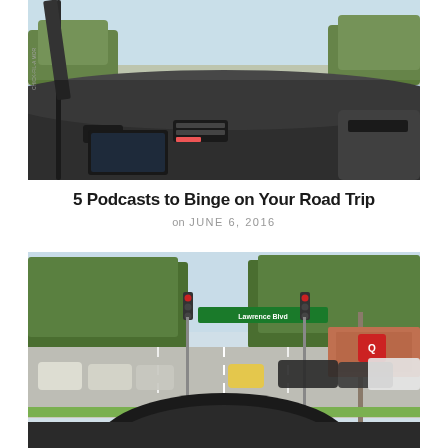[Figure (photo): View from inside a car dashboard looking out through the windshield onto a highway, with trees and blue sky visible ahead. A lanyard hangs from the left side.]
5 Podcasts to Binge on Your Road Trip
on JUNE 6, 2016
[Figure (photo): View from inside a car looking out through the windshield at a suburban intersection with traffic lights, green trees, and businesses visible in the background. The steering wheel is visible at the bottom.]